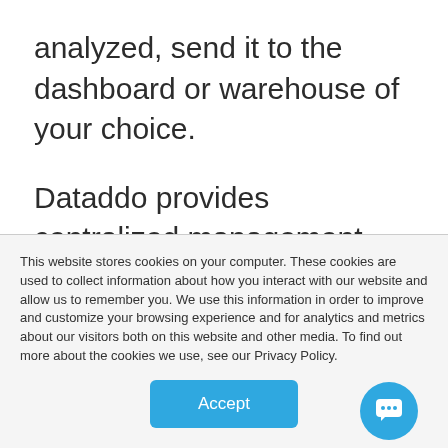analyzed, send it to the dashboard or warehouse of your choice.
Dataddo provides centralized management and monitoring of all your data pipelines, making it easy to combine data from many different sources. With regular data backup within our system, you'll never have to worry about not being able to access your
This website stores cookies on your computer. These cookies are used to collect information about how you interact with our website and allow us to remember you. We use this information in order to improve and customize your browsing experience and for analytics and metrics about our visitors both on this website and other media. To find out more about the cookies we use, see our Privacy Policy.